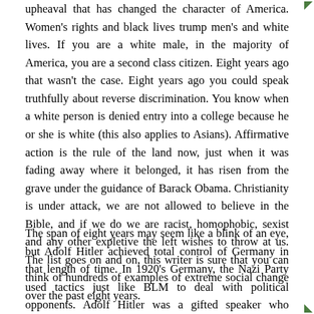upheaval that has changed the character of America. Women's rights and black lives trump men's and white lives. If you are a white male, in the majority of America, you are a second class citizen. Eight years ago that wasn't the case. Eight years ago you could speak truthfully about reverse discrimination. You know when a white person is denied entry into a college because he or she is white (this also applies to Asians). Affirmative action is the rule of the land now, just when it was fading away where it belonged, it has risen from the grave under the guidance of Barack Obama. Christianity is under attack, we are not allowed to believe in the Bible, and if we do we are racist, homophobic, sexist and any other expletive the left wishes to throw at us. The list goes on and on, this writer is sure that you can think of hundreds of examples of extreme social change over the past eight years.
The span of eight years may seem like a blink of an eye, but Adolf Hitler achieved total control of Germany in that length of time. In 1920's Germany, the Nazi Party used tactics just like BLM to deal with political opponents. Adolf Hitler was a gifted speaker who convinced many Germans that all of their problems were caused by Jews and communists. He reinforced those beliefs with a goon squad, the S.A. (Sturm Abteilung) known as the Storm troopers that...